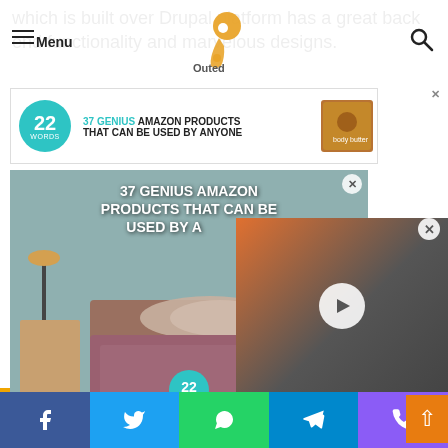which is built over Drupal platform has a great back end functionality and marvelous designs.
Menu | [Logo: Outed] | [Search icon]
[Figure (screenshot): Advertisement banner: 37 GENIUS AMAZON PRODUCTS THAT CAN BE USED BY ANYONE with 22 Words badge and product image]
[Figure (screenshot): Popup advertisement: 37 GENIUS AMAZON PRODUCTS THAT CAN BE USED BY ANYONE overlaid on bedroom image with bedding]
[Figure (screenshot): Video overlay thumbnail showing person with orange jacket and play button]
[Figure (screenshot): Back to top orange arrow button]
Social share buttons: Facebook, Twitter, WhatsApp, Telegram, Phone